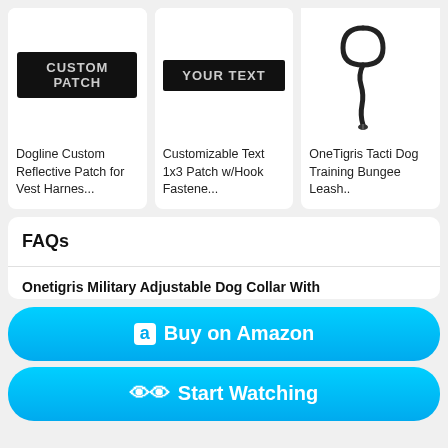[Figure (photo): Product card: Dogline Custom Reflective Patch for Vest Harnes... with black patch showing CUSTOM PATCH text]
Dogline Custom Reflective Patch for Vest Harnes...
[Figure (photo): Product card: Customizable Text 1x3 Patch w/Hook Fastene... with black patch showing YOUR TEXT]
Customizable Text 1x3 Patch w/Hook Fastene...
[Figure (photo): Product card: OneTigris Tacti Dog Training Bungee Leash.. showing a black bungee leash]
OneTigris Tacti Dog Training Bungee Leash..
FAQs
Onetigris Military Adjustable Dog Collar With
Buy on Amazon
Start Watching